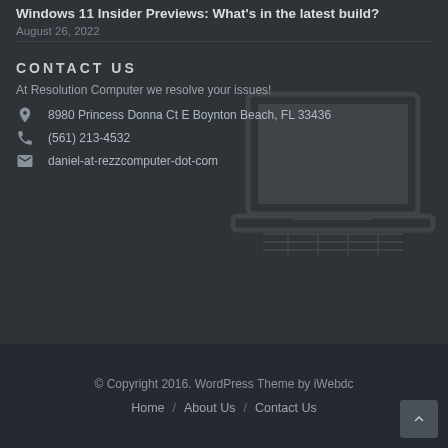Windows 11 Insider Previews: What’s in the latest build?
August 26, 2022
CONTACT US
At Resolution Computer we resolve your issues!
8980 Princess Donna Ct E Boynton Beach, FL 33436
(561) 213-4532
daniel-at-rezzcomputer-dot-com
© Copyright 2016. WordPress Theme by iWebdc
Home / About Us / Contact Us